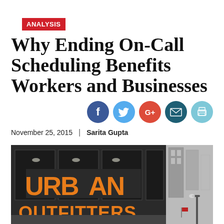ANALYSIS
Why Ending On-Call Scheduling Benefits Workers and Businesses
[Figure (infographic): Social media share icons: Facebook (blue circle), Twitter (light blue circle), Google+ (red circle), Email (dark teal circle), Print (light blue/cyan circle)]
November 25, 2015  |  Sarita Gupta
[Figure (photo): Street-level photo of an Urban Outfitters store facade with large orange letters on a dark glass storefront, city buildings visible to the right, street lamp in foreground.]